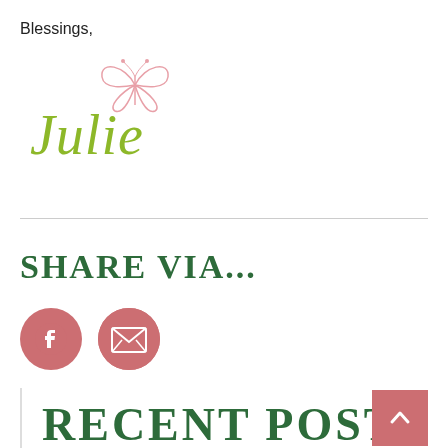Blessings,
[Figure (illustration): Handwritten-style signature 'Julie' in olive/yellow-green cursive with a pink butterfly illustration above it]
SHARE VIA...
[Figure (infographic): Two pink circular social share buttons: Facebook icon and email/envelope icon]
RECENT POSTS